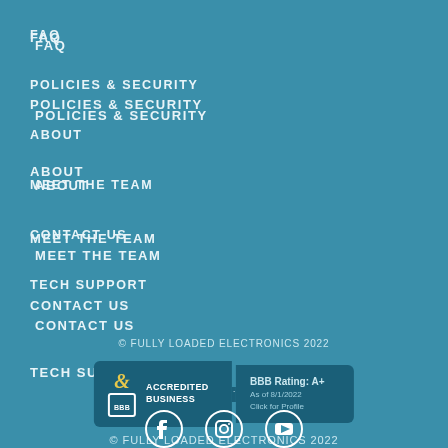FAQ
POLICIES & SECURITY
ABOUT
MEET THE TEAM
CONTACT US
TECH SUPPORT
© FULLY LOADED ELECTRONICS 2022
[Figure (logo): BBB Accredited Business badge with BBB Rating: A+, As of 8/1/2022, Click for Profile]
[Figure (infographic): Social media icons: Facebook, Instagram, YouTube]